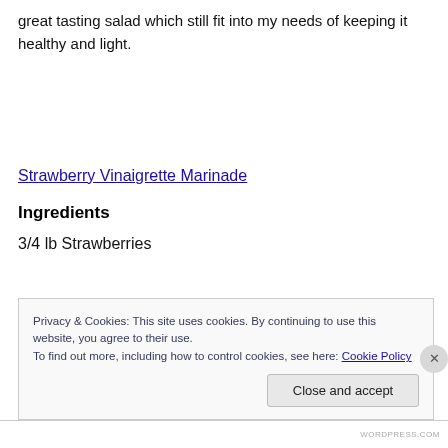great tasting salad which still fit into my needs of keeping it healthy and light.
Strawberry Vinaigrette Marinade
Ingredients
3/4 lb Strawberries
Privacy & Cookies: This site uses cookies. By continuing to use this website, you agree to their use.
To find out more, including how to control cookies, see here: Cookie Policy